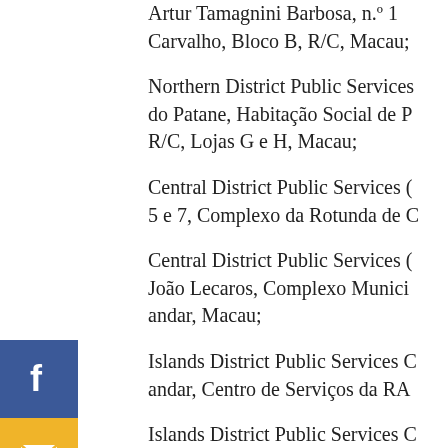Artur Tamagnini Barbosa, n.º 12, Carvalho, Bloco B, R/C, Macau;
Northern District Public Services do Patane, Habitação Social de P, R/C, Lojas G e H, Macau;
Central District Public Services C 5 e 7, Complexo da Rotunda de C
Central District Public Services C João Lecaros, Complexo Munici andar, Macau;
Islands District Public Services C andar, Centro de Serviços da RA
Islands District Public Services C de Vale das Borboletas, Seac Pai Coloane.
Office hours:
Monday to Friday: 9:00